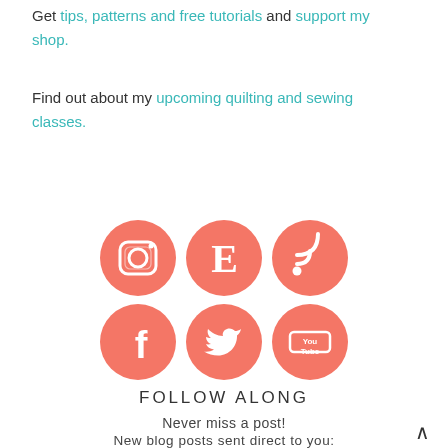Get tips, patterns and free tutorials and support my shop.
Find out about my upcoming quilting and sewing classes.
[Figure (infographic): Six social media icons in a 3x2 grid: Instagram, Etsy (E), RSS feed (top row); Facebook, Twitter, YouTube (bottom row). All icons are coral/salmon colored circles with white symbols.]
FOLLOW ALONG
Never miss a post!
New blog posts sent direct to you:
TYPE YOUR EMAIL